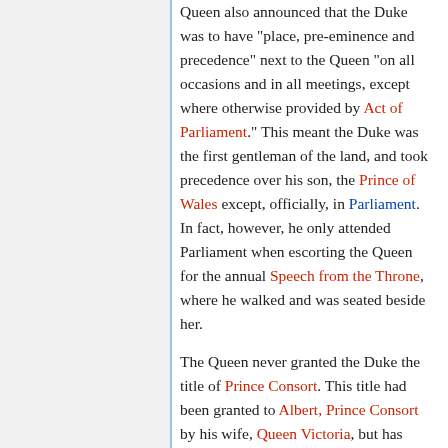Queen also announced that the Duke was to have "place, pre-eminence and precedence" next to the Queen "on all occasions and in all meetings, except where otherwise provided by Act of Parliament." This meant the Duke was the first gentleman of the land, and took precedence over his son, the Prince of Wales except, officially, in Parliament. In fact, however, he only attended Parliament when escorting the Queen for the annual Speech from the Throne, where he walked and was seated beside her.
The Queen never granted the Duke the title of Prince Consort. This title had been granted to Albert, Prince Consort by his wife, Queen Victoria, but has never been used before or since by a British consort. There was some media